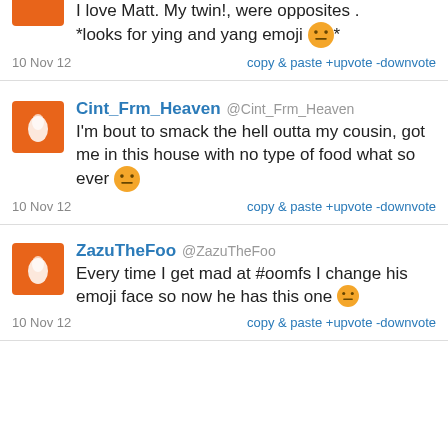I love Matt. My twin!, were opposites . *looks for ying and yang emoji *
10 Nov 12    copy & paste +upvote -downvote
Cint_Frm_Heaven @Cint_Frm_Heaven
I'm bout to smack the hell outta my cousin, got me in this house with no type of food what so ever
10 Nov 12    copy & paste +upvote -downvote
ZazuTheFoo @ZazuTheFoo
Every time I get mad at #oomfs I change his emoji face so now he has this one
10 Nov 12    copy & paste +upvote -downvote